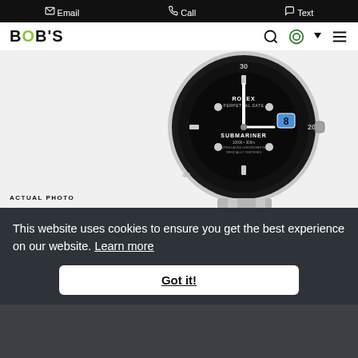Email  Call  Text
[Figure (logo): BOB'S Watches logo with green O]
[Figure (photo): Rolex Submariner 126610 watch with black dial and bezel, stainless steel bracelet, actual product photo]
ACTUAL PHOTO
Rolex Submariner 126610 Stainless Steel
$16,995 cash / wire price
This website uses cookies to ensure you get the best experience on our website. Learn more
Got it!
BUY NOW